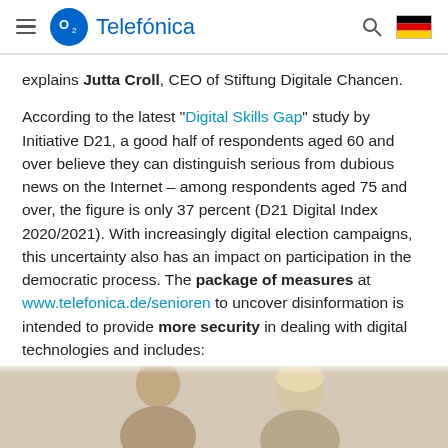Telefónica
explains Jutta Croll, CEO of Stiftung Digitale Chancen.
According to the latest "Digital Skills Gap" study by Initiative D21, a good half of respondents aged 60 and over believe they can distinguish serious from dubious news on the Internet – among respondents aged 75 and over, the figure is only 37 percent (D21 Digital Index 2020/2021). With increasingly digital election campaigns, this uncertainty also has an impact on participation in the democratic process. The package of measures at www.telefonica.de/senioren to uncover disinformation is intended to provide more security in dealing with digital technologies and includes:
[Figure (photo): Photo of elderly people, cropped at bottom of page]